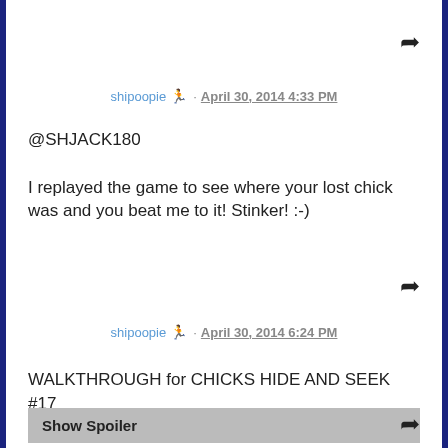shipoopie 🏃 · April 30, 2014 4:33 PM
@SHJACK180

I replayed the game to see where your lost chick was and you beat me to it! Stinker! :-)
shipoopie 🏃 · April 30, 2014 6:24 PM
WALKTHROUGH for CHICKS HIDE AND SEEK #17
Show Spoiler